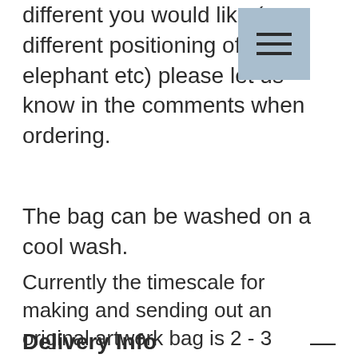different you would like (eg different positioning of the elephant etc) please let us know in the comments when ordering.
The bag can be washed on a cool wash.
Currently the timescale for making and sending out an original artwork bag is 2 - 3 weeks. if you are in a rush please get in touch and we will let you know if we can make it quicker :-)
Delivery Info